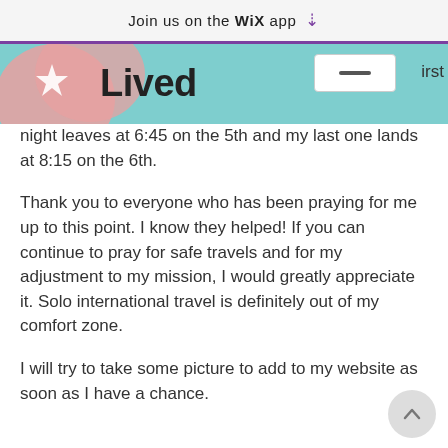Join us on the WiX app ↓
[Figure (illustration): Decorative website header with teal background, pink heart with star on left, bold text 'Lived', and a white rectangular button overlay with horizontal bar icon on the right side. The word 'first' is partially visible at far right.]
night leaves at 6:45 on the 5th and my last one lands at 8:15 on the 6th.
Thank you to everyone who has been praying for me up to this point. I know they helped! If you can continue to pray for safe travels and for my adjustment to my mission, I would greatly appreciate it. Solo international travel is definitely out of my comfort zone.
I will try to take some picture to add to my website as soon as I have a chance.